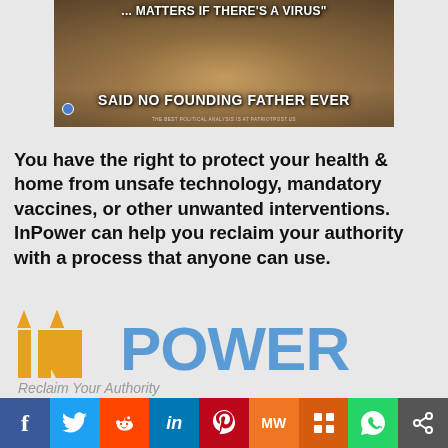[Figure (photo): Meme image showing a historical painting of the Founding Fathers with text overlay: '...MATTERS IF THERE'S A VIRUS" SAID NO FOUNDING FATHER EVER']
You have the right to protect your health & home from unsafe technology, mandatory vaccines, or other unwanted interventions. InPower can help you reclaim your authority with a process that anyone can use.
[Figure (logo): InPower logo with upward arrows on the I and N in gold/yellow, POWER in blue, tagline 'Reclaim Your Authority' in gray italic]
f [Facebook] [Twitter/bird] [Reddit] in [Pinterest] MW [Mix] [WhatsApp] [Share]